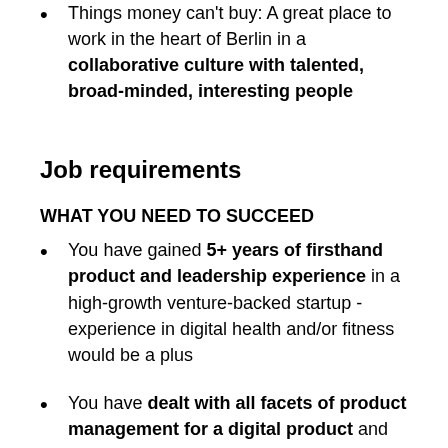Things money can't buy: A great place to work in the heart of Berlin in a collaborative culture with talented, broad-minded, interesting people
Job requirements
WHAT YOU NEED TO SUCCEED
You have gained 5+ years of firsthand product and leadership experience in a high-growth venture-backed startup - experience in digital health and/or fitness would be a plus
You have dealt with all facets of product management for a digital product and have